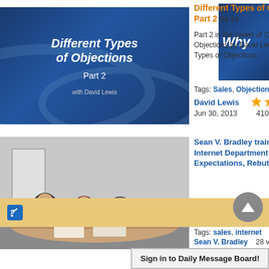[Figure (screenshot): Thumbnail for 'Different Types of Objections Part 2' video with blue gradient background and italic white text]
Different Types of Objections - Part 2   04:16
Part 2 in the series of Customer Objections by David Lewis- Different Types of Objections
Tags: Sales, Objections
David Lewis
Jun 30, 2013       410 views
[Figure (photo): Photo of people sitting around a conference table for Sean V. Bradley training video]
Sean V. Bradley training an Internet Department on Objections, Expectations, Rebuttals and WHY...
http://www.facebook.com/seanvbradley http://www.automotiveinternetsales.com http://www.dealersynerg…
Tags: sales, internet
Sean V. Bradley     28 views
Dec 20, 2010
[Figure (screenshot): Partial thumbnail showing 'Why' text on blue background]
Sign in to Daily Message Board!